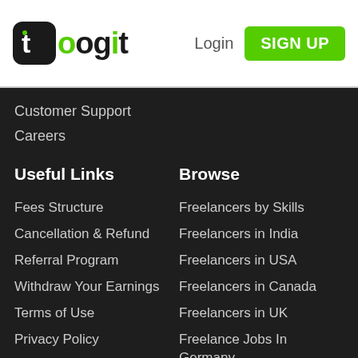toogit — Login | SIGN UP
Customer Support
Careers
Useful Links
Browse
Fees Structure
Freelancers by Skills
Cancellation & Refund
Freelancers in India
Referral Program
Freelancers in USA
Withdraw Your Earnings
Freelancers in Canada
Terms of Use
Freelancers in UK
Privacy Policy
Freelance Jobs In Germany
Cookie Policy